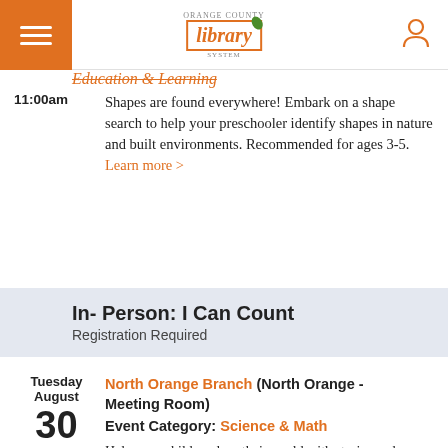Orange County Library — header with hamburger menu, logo, and user icon
Education & Learning
11:00am — Shapes are found everywhere! Embark on a shape search to help your preschooler identify shapes in nature and built environments. Recommended for ages 3-5. Learn more >
In- Person: I Can Count
Registration Required
Tuesday August 30 11:00am — North Orange Branch (North Orange - Meeting Room)
Event Category: Science & Math
Help your child explore their world with stories and activities that encourage mathematical thinking. Recommended for preschoolers.
Learn more >